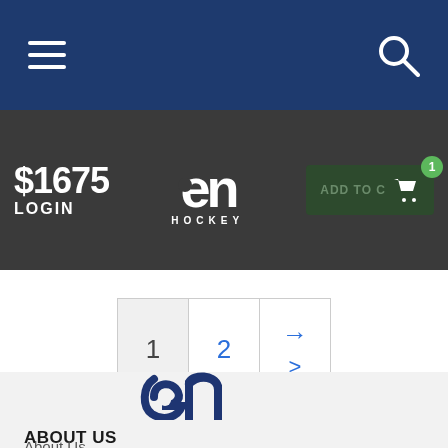[Figure (screenshot): Mobile website navigation bar with hamburger menu icon on left and search icon on right, dark navy blue background]
[Figure (logo): EN Hockey logo in white text with stylized 'en' symbol, centered in dark gray bar. LOGIN text on left, $1,675 price, ADD TO CART button with cart icon and badge showing 1]
[Figure (other): Pagination component showing page 1 (active), page 2 (blue link), and next arrow in blue]
[Figure (logo): EN Hockey large logo in dark blue on light gray background]
ABOUT US
About Us
Our Team